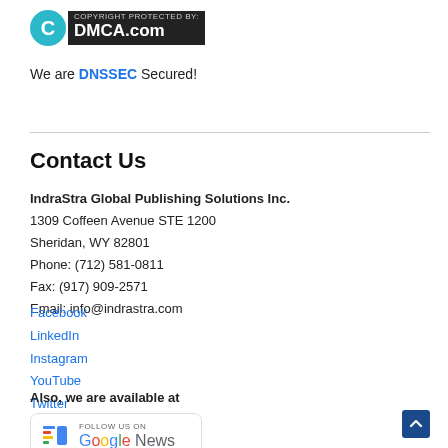[Figure (logo): DMCA.com copyright protection badge with teal C circle and dark background]
We are DNSSEC Secured!
Contact Us
IndraStra Global Publishing Solutions Inc.
1309 Coffeen Avenue STE 1200
Sheridan, WY 82801
Phone: (712) 581-0811
Fax: (917) 909-2571
Email: info@indrastra.com
Facebook
LinkedIn
Instagram
YouTube
Twitter
Medium
Also, we are available at
[Figure (logo): Follow us on Google News badge]